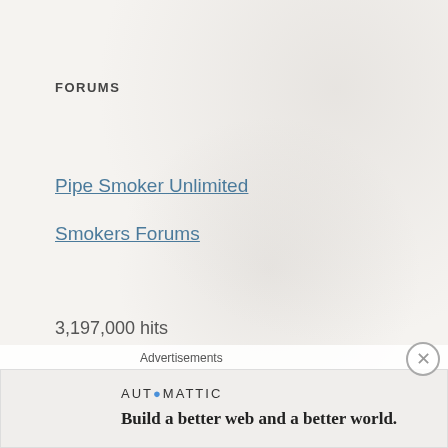FORUMS
Pipe Smoker Unlimited
Smokers Forums
3,197,000 hits
RECENT POSTS
Advertisements
[Figure (infographic): Automattic advertisement banner with logo and tagline: Build a better web and a better world.]